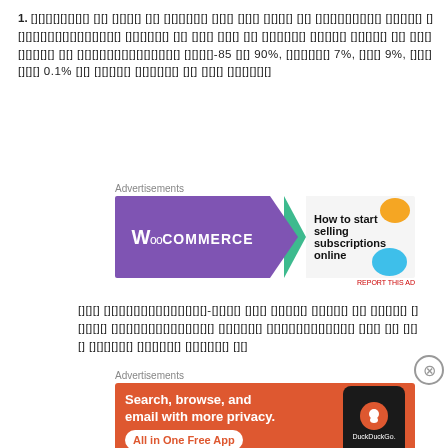1. [garbled text] 85 [garbled] 90%, [garbled] 7%, [garbled] 9%, [garbled] 0.1% [garbled text]
[Figure (other): WooCommerce advertisement banner: purple left panel with WooCommerce logo, green arrow shape in center, light right panel with text 'How to start selling subscriptions online' and decorative orange and blue circles]
[garbled text - three lines of unreadable characters]
[Figure (other): DuckDuckGo advertisement: orange/red background with text 'Search, browse, and email with more privacy. All in One Free App' and a smartphone image with DuckDuckGo logo]